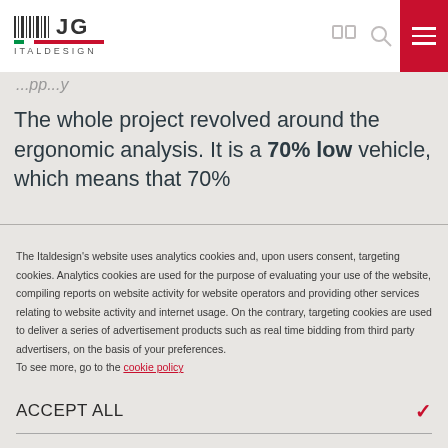ITALDESIGN logo header with navigation icons
The whole project revolved around the ergonomic analysis. It is a 70% low vehicle, which means that 70%
The Italdesign's website uses analytics cookies and, upon users consent, targeting cookies. Analytics cookies are used for the purpose of evaluating your use of the website, compiling reports on website activity for website operators and providing other services relating to website activity and internet usage. On the contrary, targeting cookies are used to deliver a series of advertisement products such as real time bidding from third party advertisers, on the basis of your preferences.
To see more, go to the cookie policy
ACCEPT ALL
REJECT ALL
MORE INFORMATION